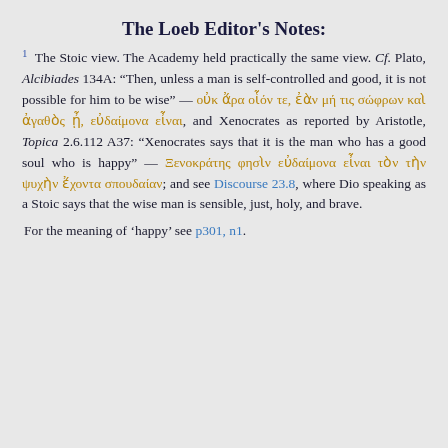The Loeb Editor's Notes:
1 The Stoic view. The Academy held practically the same view. Cf. Plato, Alcibiades 134A: "Then, unless a man is self-controlled and good, it is not possible for him to be wise" — οὐκ ἄρα οἷόν τε, ἐὰν μή τις σώφρων καὶ ἀγαθὸς ᾖ, εὐδαίμονα εἶναι, and Xenocrates as reported by Aristotle, Topica 2.6.112 A37: "Xenocrates says that it is the man who has a good soul who is happy" — Ξενοκράτης φησὶν εὐδαίμονα εἶναι τὸν τὴν ψυχὴν ἔχοντα σπουδαίαν; and see Discourse 23.8, where Dio speaking as a Stoic says that the wise man is sensible, just, holy, and brave.
For the meaning of 'happy' see p301, n1.